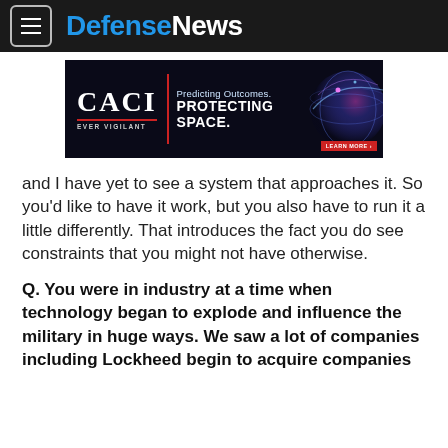DefenseNews
[Figure (other): CACI advertisement banner: 'Predicting Outcomes. PROTECTING SPACE.' with globe graphic and LEARN MORE button]
and I have yet to see a system that approaches it. So you'd like to have it work, but you also have to run it a little differently. That introduces the fact you do see constraints that you might not have otherwise.
Q. You were in industry at a time when technology began to explode and influence the military in huge ways. We saw a lot of companies including Lockheed begin to acquire companies